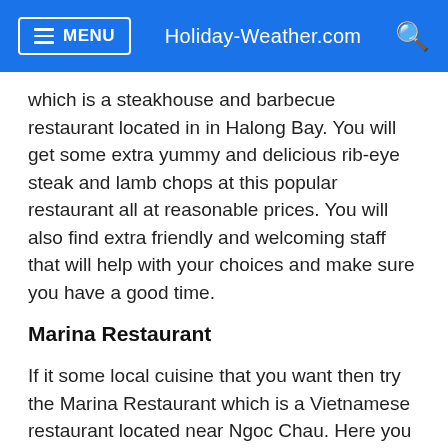MENU  Holiday-Weather.com
which is a steakhouse and barbecue restaurant located in in Halong Bay. You will get some extra yummy and delicious rib-eye steak and lamb chops at this popular restaurant all at reasonable prices. You will also find extra friendly and welcoming staff that will help with your choices and make sure you have a good time.
Marina Restaurant
If it some local cuisine that you want then try the Marina Restaurant which is a Vietnamese restaurant located near Ngoc Chau. Here you will find very yummy food as well as nice and friendly waiting staff. The vegetable spring rolls with peanut sauce comes highly recommended as does the fried noodles with beef. You will also be able to have some great civet coffee or cold beers while enjoying the stunning views.